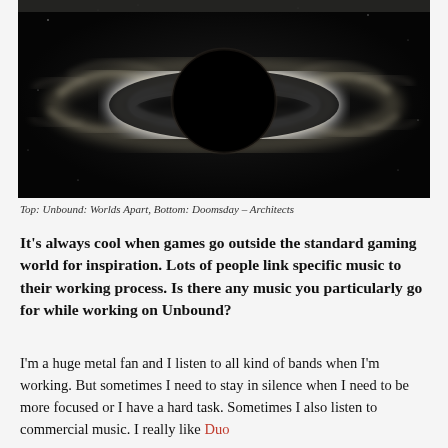[Figure (photo): A dramatic image of a black hole with a bright white accretion disk and swirling gas/dust clouds on a dark space background]
Top: Unbound: Worlds Apart, Bottom: Doomsday – Architects
It's always cool when games go outside the standard gaming world for inspiration. Lots of people link specific music to their working process. Is there any music you particularly go for while working on Unbound?
I'm a huge metal fan and I listen to all kind of bands when I'm working. But sometimes I need to stay in silence when I need to be more focused or I have a hard task. Sometimes I also listen to commercial music. I really like Duo...